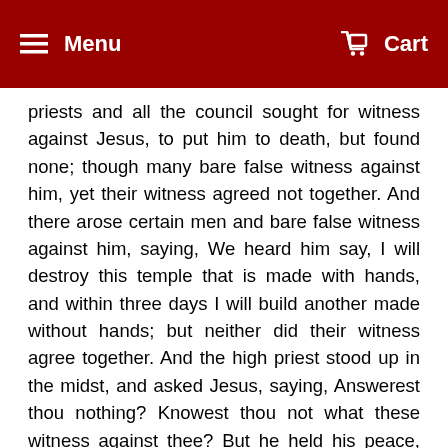Menu  Cart
priests and all the council sought for witness against Jesus, to put him to death, but found none; though many bare false witness against him, yet their witness agreed not together. And there arose certain men and bare false witness against him, saying, We heard him say, I will destroy this temple that is made with hands, and within three days I will build another made without hands; but neither did their witness agree together. And the high priest stood up in the midst, and asked Jesus, saying, Answerest thou nothing? Knowest thou not what these witness against thee? But he held his peace, and answered nothing. Again the high priest asked him and said unto him, Art thou the Christ, the Son of the Blessed? And Jesus said, I am; and ye shall see the Son of man sitting on the right hand of power, and coming in the clouds of heaven. Then the high priest rent his